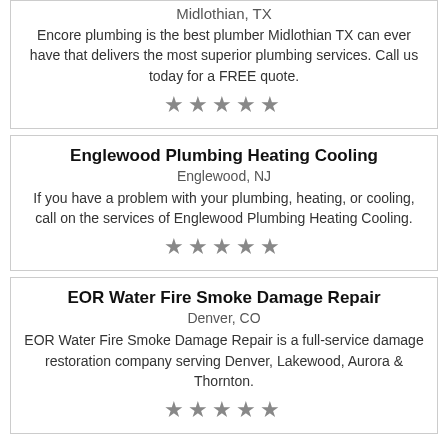Midlothian, TX
Encore plumbing is the best plumber Midlothian TX can ever have that delivers the most superior plumbing services. Call us today for a FREE quote.
★★★★★
Englewood Plumbing Heating Cooling
Englewood, NJ
If you have a problem with your plumbing, heating, or cooling, call on the services of Englewood Plumbing Heating Cooling.
★★★★★
EOR Water Fire Smoke Damage Repair
Denver, CO
EOR Water Fire Smoke Damage Repair is a full-service damage restoration company serving Denver, Lakewood, Aurora & Thornton.
★★★★★